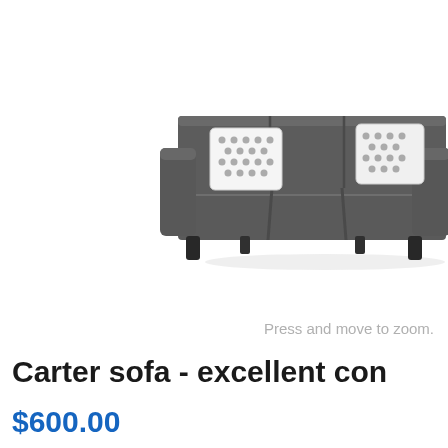[Figure (photo): A grey three-seat sofa with two decorative patterned throw pillows (black and white dotted pattern), squared arms, and dark wooden legs, shown on a white background.]
Press and move to zoom.
Carter sofa - excellent con
$600.00